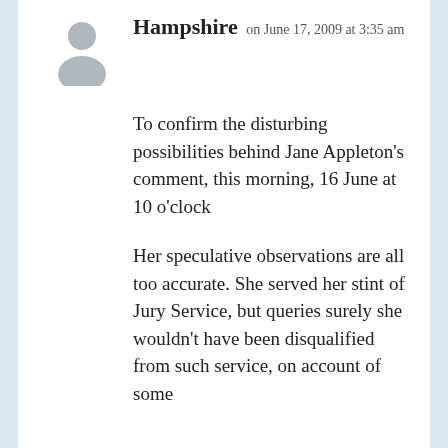[Figure (illustration): Generic grey silhouette avatar icon of a person]
Hampshire on June 17, 2009 at 3:35 am
To confirm the disturbing possibilities behind Jane Appleton's comment, this morning, 16 June at 10 o'clock
Her speculative observations are all too accurate. She served her stint of Jury Service, but queries surely she wouldn't have been disqualified from such service, on account of some